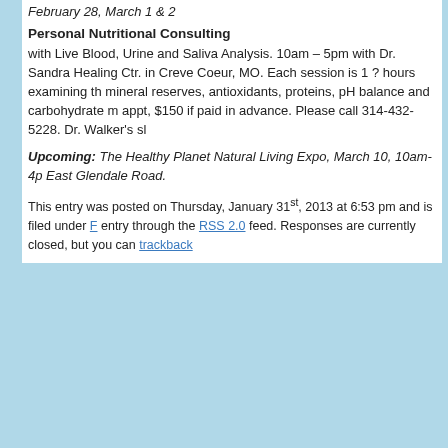February 28, March 1 & 2
Personal Nutritional Consulting
with Live Blood, Urine and Saliva Analysis. 10am – 5pm with Dr. Sandra Healing Ctr. in Creve Coeur, MO. Each session is 1 ? hours examining the mineral reserves, antioxidants, proteins, pH balance and carbohydrate m appt, $150 if paid in advance. Please call 314-432-5228. Dr. Walker's sl
Upcoming: The Healthy Planet Natural Living Expo, March 10, 10am-4p East Glendale Road.
This entry was posted on Thursday, January 31st, 2013 at 6:53 pm and is filed under [link] entry through the RSS 2.0 feed. Responses are currently closed, but you can trackback